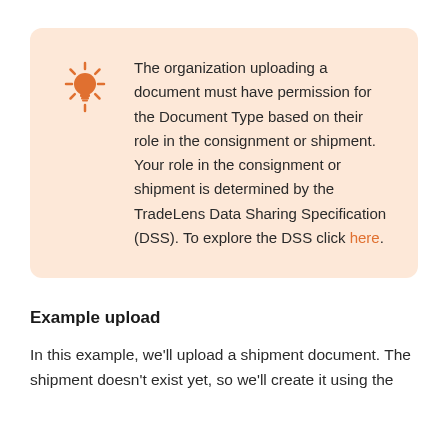The organization uploading a document must have permission for the Document Type based on their role in the consignment or shipment. Your role in the consignment or shipment is determined by the TradeLens Data Sharing Specification (DSS). To explore the DSS click here.
Example upload
In this example, we'll upload a shipment document. The shipment doesn't exist yet, so we'll create it using the